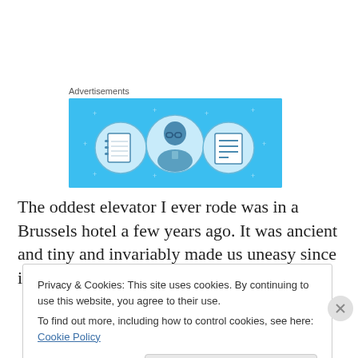[Figure (illustration): Advertisement banner with light blue background showing three circular icons: a notebook, a person with glasses, and a document/list icon, with small star/sparkle decorations.]
The oddest elevator I ever rode was in a Brussels hotel a few years ago. It was ancient and tiny and invariably made us uneasy since it seemed to be the vintage of an Otis
Privacy & Cookies: This site uses cookies. By continuing to use this website, you agree to their use.
To find out more, including how to control cookies, see here: Cookie Policy
Close and accept